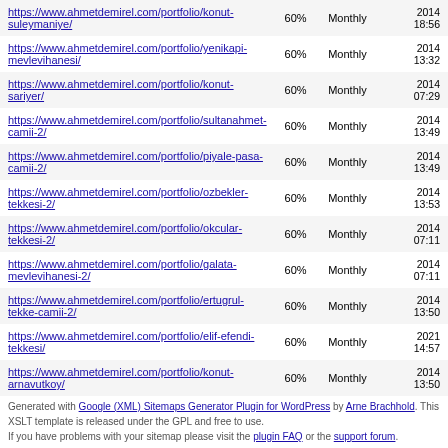| URL | Priority | Change Freq | Last Modified |
| --- | --- | --- | --- |
| https://www.ahmetdemirel.com/portfolio/konut-suleymaniye/ | 60% | Monthly | 2014 18:56 |
| https://www.ahmetdemirel.com/portfolio/yenikapi-mevlevihanesi/ | 60% | Monthly | 2014 13:32 |
| https://www.ahmetdemirel.com/portfolio/konut-sariyer/ | 60% | Monthly | 2014 07:29 |
| https://www.ahmetdemirel.com/portfolio/sultanahmet-camii-2/ | 60% | Monthly | 2014 13:49 |
| https://www.ahmetdemirel.com/portfolio/piyale-pasa-camii-2/ | 60% | Monthly | 2014 13:49 |
| https://www.ahmetdemirel.com/portfolio/ozbekler-tekkesi-2/ | 60% | Monthly | 2014 13:53 |
| https://www.ahmetdemirel.com/portfolio/okcular-tekkesi-2/ | 60% | Monthly | 2014 07:11 |
| https://www.ahmetdemirel.com/portfolio/galata-mevlevihanesi-2/ | 60% | Monthly | 2014 07:11 |
| https://www.ahmetdemirel.com/portfolio/ertugrul-tekke-camii-2/ | 60% | Monthly | 2014 13:50 |
| https://www.ahmetdemirel.com/portfolio/elif-efendi-tekkesi/ | 60% | Monthly | 2021 14:57 |
| https://www.ahmetdemirel.com/portfolio/konut-arnavutkoy/ | 60% | Monthly | 2014 13:50 |
Generated with Google (XML) Sitemaps Generator Plugin for WordPress by Arne Brachhold. This XSLT template is released under the GPL and free to use.
If you have problems with your sitemap please visit the plugin FAQ or the support forum.